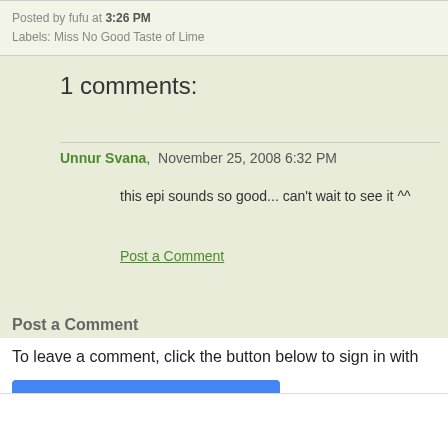Posted by fufu at 3:26 PM
Labels: Miss No Good Taste of Lime
1 comments:
Unnur Svana,  November 25, 2008 6:32 PM
this epi sounds so good... can't wait to see it ^^
Post a Comment
Post a Comment
To leave a comment, click the button below to sign in with
SIGN IN WITH GOOGLE